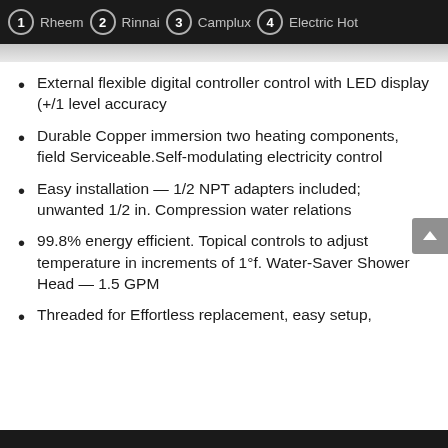1 Rheem  2 Rinnai  3 Camplux  4 Electric Hot
External flexible digital controller control with LED display (+/1 level accuracy
Durable Copper immersion two heating components, field Serviceable.Self-modulating electricity control
Easy installation — 1/2 NPT adapters included; unwanted 1/2 in. Compression water relations
99.8% energy efficient. Topical controls to adjust temperature in increments of 1°f. Water-Saver Shower Head — 1.5 GPM
Threaded for Effortless replacement, easy setup,